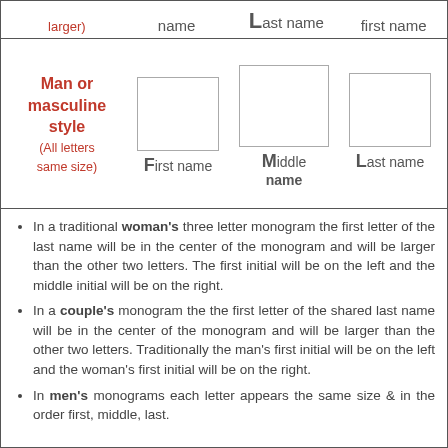| (larger) | name | Last name | first name |
| --- | --- | --- | --- |
[Figure (illustration): Man or masculine style monogram diagram showing three boxes labeled First name, Middle name, Last name with all letters same size]
In a traditional woman's three letter monogram the first letter of the last name will be in the center of the monogram and will be larger than the other two letters. The first initial will be on the left and the middle initial will be on the right.
In a couple's monogram the the first letter of the shared last name will be in the center of the monogram and will be larger than the other two letters. Traditionally the man's first initial will be on the left and the woman's first initial will be on the right.
In men's monograms each letter appears the same size & in the order first, middle, last.